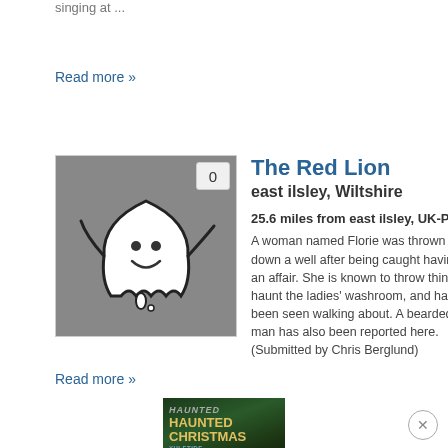singing at ...
Read more »
[Figure (illustration): Ghost illustration on grey background with a badge showing 0]
The Red Lion
east ilsley, Wiltshire
25.6 miles from east ilsley, UK-P4
A woman named Florie was thrown down a well after being caught having an affair. She is known to throw things, haunt the ladies' washroom, and has been seen walking about. A bearded man has also been reported here. (Submitted by Chris Berglund)
Read more »
[Figure (photo): Book cover: Haunted Christmas with subtitle text]